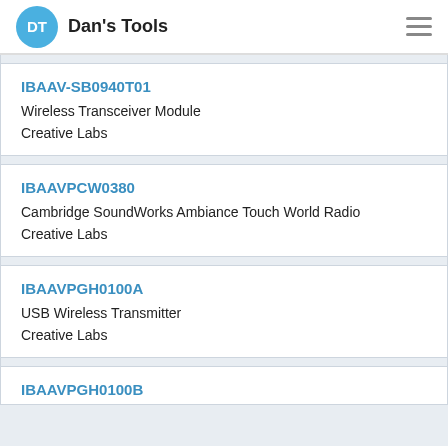DT Dan's Tools
IBAAV-SB0940T01
Wireless Transceiver Module
Creative Labs
IBAAVPCW0380
Cambridge SoundWorks Ambiance Touch World Radio
Creative Labs
IBAAVPGH0100A
USB Wireless Transmitter
Creative Labs
IBAAVPGH0100B